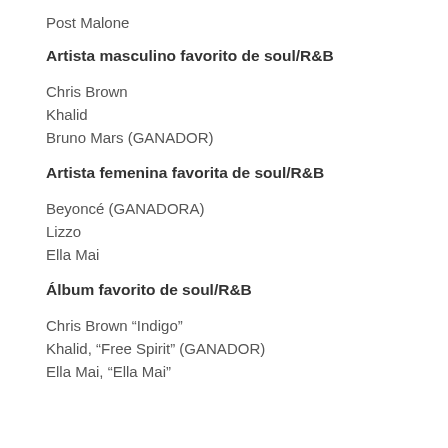Post Malone
Artista masculino favorito de soul/R&B
Chris Brown
Khalid
Bruno Mars (GANADOR)
Artista femenina favorita de soul/R&B
Beyoncé (GANADORA)
Lizzo
Ella Mai
Álbum favorito de soul/R&B
Chris Brown “Indigo”
Khalid, “Free Spirit” (GANADOR)
Ella Mai, “Ella Mai”